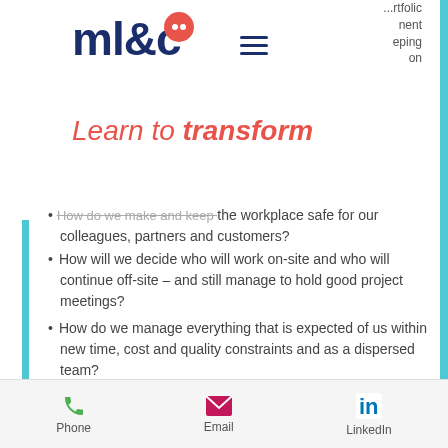ml&c — Learn to transform
...ment eping on
...how do we make and keep the workplace safe for our colleagues, partners and customers?
How will we decide who will work on-site and who will continue off-site – and still manage to hold good project meetings?
How do we manage everything that is expected of us within new time, cost and quality constraints and as a dispersed team?
The aim of this programme is to demystify the process and practices of managing projects so attendees are equipped to manage projects...
Phone   Email   LinkedIn